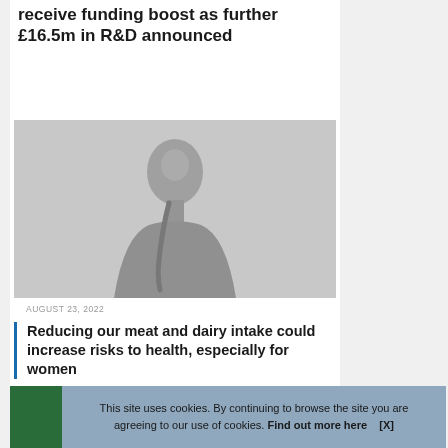receive funding boost as further £16.5m in R&D announced
[Figure (photo): A woman with silver metallic skin/paint on her face and upper body, on a light gray background]
AUGUST 23, 2022
Reducing our meat and dairy intake could increase risks to health, especially for women
This site uses cookies. By continuing to browse the site you are agreeing to our use of cookies. Find out more here   [X]